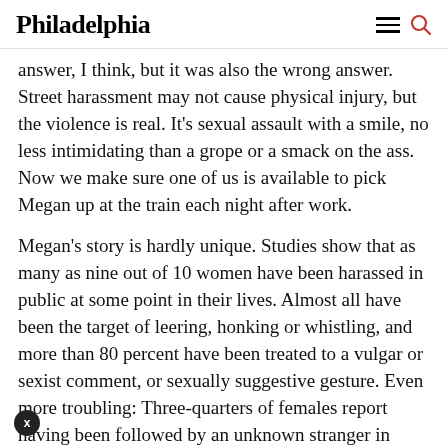Philadelphia
answer, I think, but it was also the wrong answer. Street harassment may not cause physical injury, but the violence is real. It’s sexual assault with a smile, no less intimidating than a grope or a smack on the ass. Now we make sure one of us is available to pick Megan up at the train each night after work.
Megan’s story is hardly unique. Studies show that as many as nine out of 10 women have been harassed in public at some point in their lives. Almost all have been the target of leering, honking or whistling, and more than 80 percent have been treated to a vulgar or sexist comment, or sexually suggestive gesture. Even more troubling: Three-quarters of females report having been followed by an unknown stranger in public.